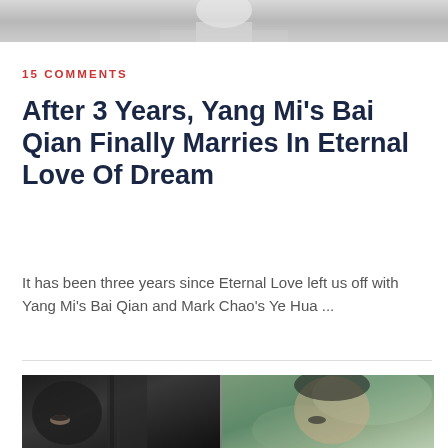[Figure (photo): Top portion of a photo showing a person in white clothing, cropped to show partial figure against light background]
15 COMMENTS
After 3 Years, Yang Mi's Bai Qian Finally Marries In Eternal Love Of Dream
It has been three years since Eternal Love left us off with Yang Mi's Bai Qian and Mark Chao's Ye Hua ...
[Figure (photo): Split photo showing two women: left side shows a woman partially hidden behind a tree trunk in dim lighting, right side shows a woman with dark hair against a blurred green background]